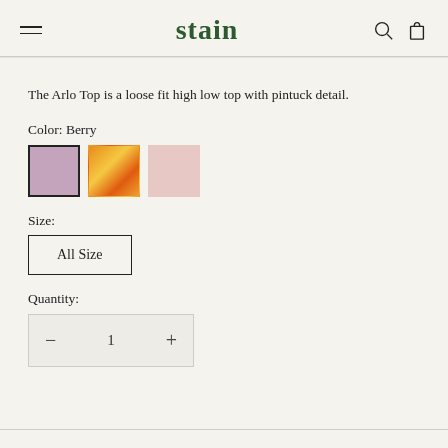stain
The Arlo Top is a loose fit high low top with pintuck detail.
Color: Berry
[Figure (other): Three color swatches: Berry (mauve/purple, selected with border), Sunrise (orange/yellow swirl), and a light pink.]
Size:
All Size
Quantity:
1